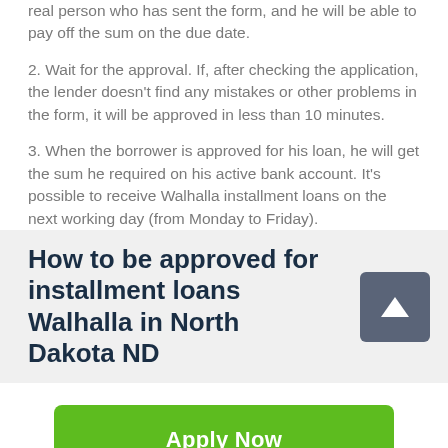real person who has sent the form, and he will be able to pay off the sum on the due date.
2. Wait for the approval. If, after checking the application, the lender doesn't find any mistakes or other problems in the form, it will be approved in less than 10 minutes.
3. When the borrower is approved for his loan, he will get the sum he required on his active bank account. It's possible to receive Walhalla installment loans on the next working day (from Monday to Friday).
How to be approved for installment loans Walhalla in North Dakota ND
Apply Now
Applying does NOT affect your credit score!
No credit check to apply.